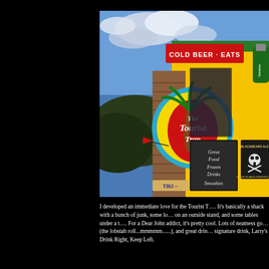[Figure (photo): Exterior of 'The Tourist Trap' bar/restaurant with yellow walls, a large colorful sign featuring a palm tree logo and the name 'The Tourist Trap', a red 'COLD BEER EATS' sign, a chalkboard menu showing 'Great Food Frozen Drinks Smoothies', and various beer brand signs including Heineken and Blackbeard Ale from Virgin Islands Brewing Co.]
I developed an immediate love for the Tourist Trap. It's basically a shack with a bunch of junk, some lobster traps on an outside stand, and some tables under a tent. For a Dear John addict, it's pretty cool. Lots of neatness going on here (the lobstah roll...mmmmm......), and great drinks! Their signature drink, Larry's Drink Right, Keep Left.